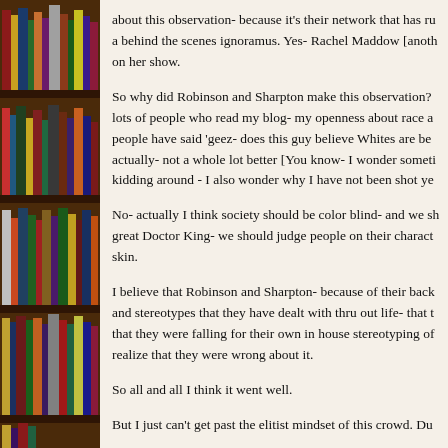[Figure (photo): Bookshelf with colorful books on the left side of the page]
about this observation- because it's their network that has ru a behind the scenes ignoramus. Yes- Rachel Maddow [anoth on her show.
So why did Robinson and Sharpton make this observation? lots of people who read my blog- my openness about race a people have said 'geez- does this guy believe Whites are be actually- not a whole lot better [You know- I wonder someti kidding around - I also wonder why I have not been shot ye
No- actually I think society should be color blind- and we sh great Doctor King- we should judge people on their charact skin.
I believe that Robinson and Sharpton- because of their back and stereotypes that they have dealt with thru out life- that t that they were falling for their own in house stereotyping of realize that they were wrong about it.
So all and all I think it went well.
But I just can't get past the elitist mindset of this crowd. Du